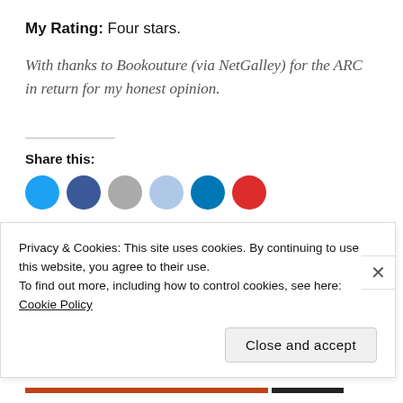My Rating: Four stars.
With thanks to Bookouture (via NetGalley) for the ARC in return for my honest opinion.
Share this:
[Figure (other): Row of partially visible colored social share circles: cyan/blue, dark blue, grey, light blue, dark teal, red]
Privacy & Cookies: This site uses cookies. By continuing to use this website, you agree to their use.
To find out more, including how to control cookies, see here: Cookie Policy
Close and accept